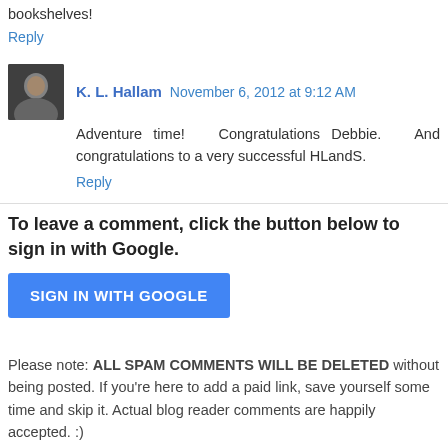bookshelves!
Reply
K. L. Hallam   November 6, 2012 at 9:12 AM
Adventure time!   Congratulations Debbie.   And congratulations to a very successful HLandS.
Reply
To leave a comment, click the button below to sign in with Google.
SIGN IN WITH GOOGLE
Please note: ALL SPAM COMMENTS WILL BE DELETED without being posted. If you're here to add a paid link, save yourself some time and skip it. Actual blog reader comments are happily accepted. :)
Note: Only a member of this blog may post a